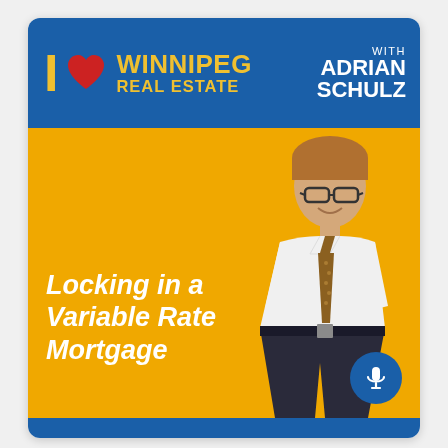[Figure (illustration): Podcast cover art for 'I Love Winnipeg Real Estate with Adrian Schulz'. Blue header with logo, golden/yellow body section with episode title 'Locking in a Variable Rate Mortgage' in white italic text, photo of host Adrian Schulz (man in white shirt and tie), and a microphone icon badge in blue circle.]